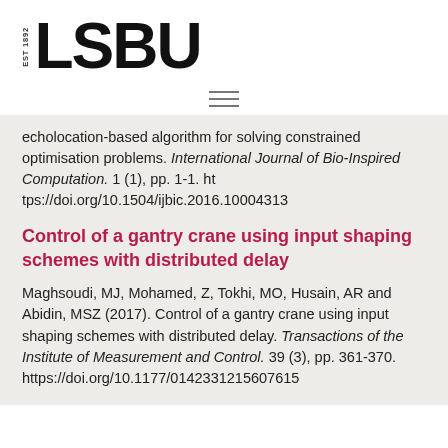[Figure (logo): LSBU logo with EST 1892 text and bold LSBU wordmark]
echolocation-based algorithm for solving constrained optimisation problems. International Journal of Bio-Inspired Computation. 1 (1), pp. 1-1. https://doi.org/10.1504/ijbic.2016.10004313
Control of a gantry crane using input shaping schemes with distributed delay
Maghsoudi, MJ, Mohamed, Z, Tokhi, MO, Husain, AR and Abidin, MSZ (2017). Control of a gantry crane using input shaping schemes with distributed delay. Transactions of the Institute of Measurement and Control. 39 (3), pp. 361-370. https://doi.org/10.1177/0142331215607615